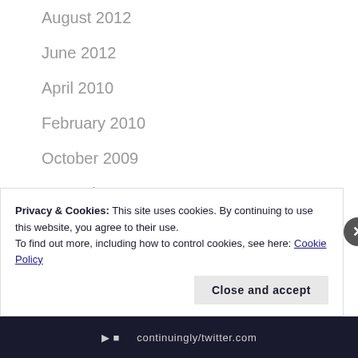August 2012
June 2012
April 2010
February 2010
October 2009
December 2008
September 2008
July 2008
Privacy & Cookies: This site uses cookies. By continuing to use this website, you agree to their use.
To find out more, including how to control cookies, see here: Cookie Policy
Close and accept